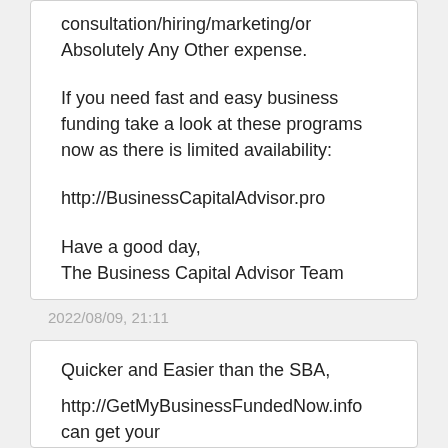consultation/hiring/marketing/or Absolutely Any Other expense.
If you need fast and easy business funding take a look at these programs now as there is limited availability:
http://BusinessCapitalAdvisor.pro
Have a good day,
The Business Capital Advisor Team
unsubscribe/remove - http://BusinessCapitalAdvisor.pro/r.php?url=shizubori.com&id=124
2022/08/09, 21:11
Quicker and Easier than the SBA,
http://GetMyBusinessFundedNow.info can get your